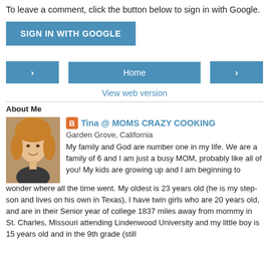To leave a comment, click the button below to sign in with Google.
[Figure (other): Blue 'SIGN IN WITH GOOGLE' button]
[Figure (other): Navigation row with left arrow button, Home button, and right arrow button]
View web version
About Me
[Figure (photo): Profile photo of a woman with blonde hair smiling]
Tina @ MOMS CRAZY COOKING
Garden Grove, California
My family and God are number one in my life. We are a family of 6 and I am just a busy MOM, probably like all of you! My kids are growing up and I am beginning to wonder where all the time went. My oldest is 23 years old (he is my step-son and lives on his own in Texas), I have twin girls who are 20 years old, and are in their Senior year of college 1837 miles away from mommy in St. Charles, Missouri attending Lindenwood University and my little boy is 15 years old and in the 9th grade (still